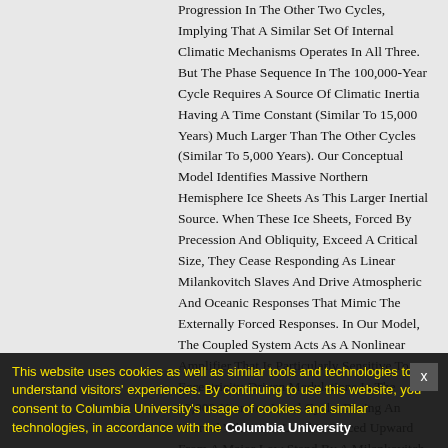Progression In The Other Two Cycles, Implying That A Similar Set Of Internal Climatic Mechanisms Operates In All Three. But The Phase Sequence In The 100,000-Year Cycle Requires A Source Of Climatic Inertia Having A Time Constant (Similar To 15,000 Years) Much Larger Than The Other Cycles (Similar To 5,000 Years). Our Conceptual Model Identifies Massive Northern Hemisphere Ice Sheets As This Larger Inertial Source. When These Ice Sheets, Forced By Precession And Obliquity, Exceed A Critical Size, They Cease Responding As Linear Milankovitch Slaves And Drive Atmospheric And Oceanic Responses That Mimic The Externally Forced Responses. In Our Model, The Coupled System Acts As A Nonlinear Amplifier That Is Particularly Sensitive To Eccentricity-Driven Modulations In The 23,000-Year Sea Level Cycle. During An Interval When Sea Level Is Forced Upward From A Major Low Stand By A Milankovitch Response Acting Either Alone Or In Combination With An Internally Driven, Higher-Frequency Process, Ice Sheets Grounded On
This website uses cookies as well as similar tools and technologies to understand visitors' experiences. By continuing to use this website, you consent to Columbia University's usage of cookies and similar technologies, in accordance with the Columbia University ...